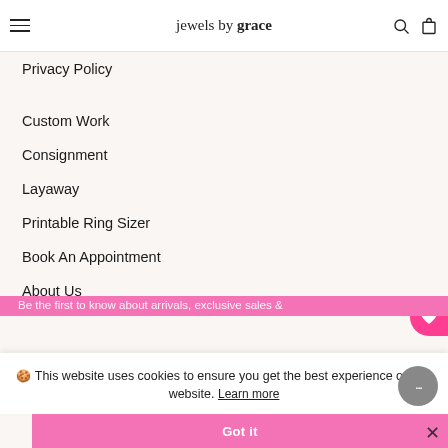jewels by grace
Privacy Policy
Custom Work
Consignment
Layaway
Printable Ring Sizer
Book An Appointment
About Us
🍪 This website uses cookies to ensure you get the best experience on our website. Learn more
Got it
Be the first to know about arrivals, exclusive sales & appointments